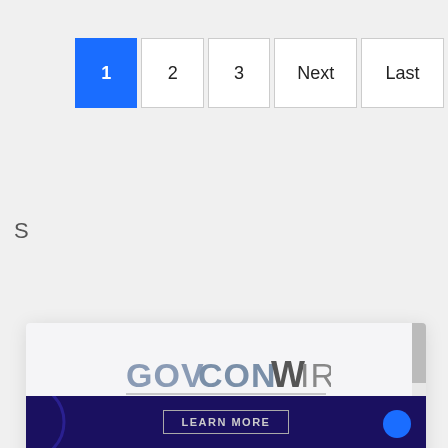[Figure (screenshot): Pagination navigation bar with buttons: 1 (active, blue), 2, 3, Next, Last]
[Figure (screenshot): Cookie consent modal overlay on GovConWire website with logo, cookie policy text, and X close button. Background shows partially visible page content and a dark banner with LEARN MORE button at the bottom.]